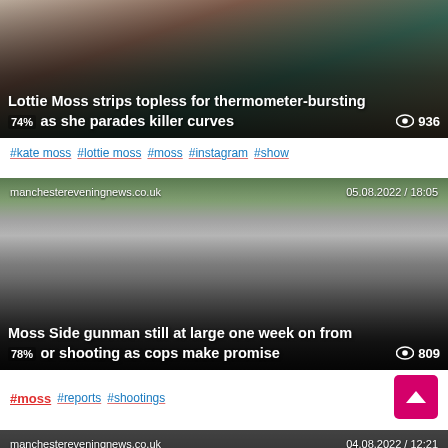[Figure (photo): Lottie Moss photo with overlay text: headline and view count]
#kate moss #lottie moss #moss #instagram #show
[Figure (photo): Moss Side crime scene photo with police officer, source: manchestereveningnews.co.uk, date: 05.08.2022 / 18:05, headline and view count]
#moss #reports #shootings
[Figure (photo): Bottom news card partial image with source manchestereveningnews.co.uk and date 04.08.2022 / 12:21]